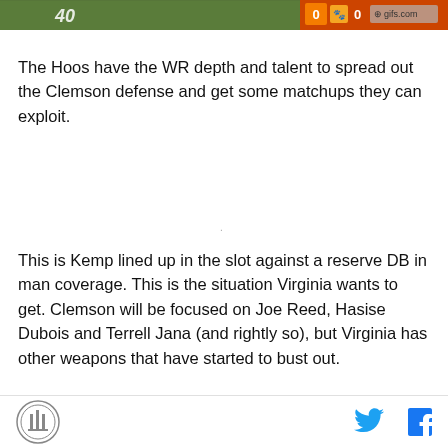[Figure (screenshot): Football game screenshot showing a field with yardline marker and scoreboard showing 0-0, with gifs.com watermark]
The Hoos have the WR depth and talent to spread out the Clemson defense and get some matchups they can exploit.
This is Kemp lined up in the slot against a reserve DB in man coverage. This is the situation Virginia wants to get. Clemson will be focused on Joe Reed, Hasise Dubois and Terrell Jana (and rightly so), but Virginia has other weapons that have started to bust out.
Virginia will show a lot of read-option. We saw it a lot
SB Nation logo, Twitter icon, Facebook icon